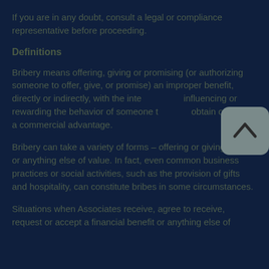If you are in any doubt, consult a legal or compliance representative before proceeding.
Definitions
Bribery means offering, giving or promising (or authorizing someone to offer, give, or promise) an improper benefit, directly or indirectly, with the intent of influencing or rewarding the behavior of someone to obtain or retain a commercial advantage.
Bribery can take a variety of forms – offering or giving money or anything else of value. In fact, even common business practices or social activities, such as the provision of gifts and hospitality, can constitute bribes in some circumstances.
Situations when Associates receive, agree to receive, request or accept a financial benefit or anything else of